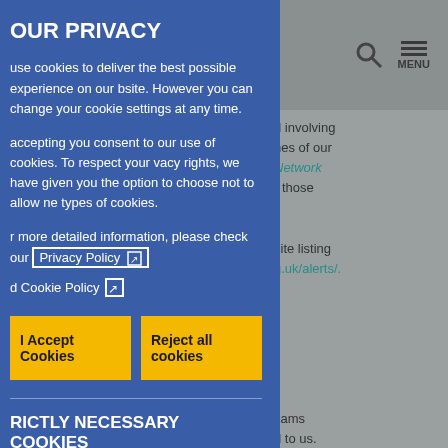OUR PRIVACY
use cookies to deliver the best possible experience on our bsite. However you can change your cookie settings at any time.
accepting you consent to our use of cookies. To respect your vacy rights, we have given you the option to choose not to allow ne types of cookies.
r more detailed information, please check our Privacy Policy and Cookie Policy
I Accept Cookies
Reject all cookies
RICTLY NECESSARY COOKIES
cookies are essential to enable you to move around our and to allow the features of the sites to work correctly. e, services you request – such as navigating between he provided and you may experience some problems